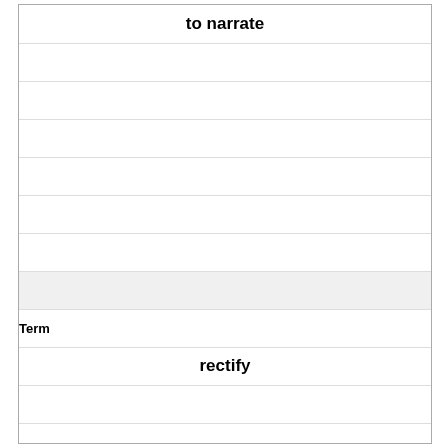| to narrate |
|  |
|  |
|  |
|  |
|  |
|  |
|  |
| Term |
| rectify |
|  |
|  |
|  |
|  |
|  |
|  |